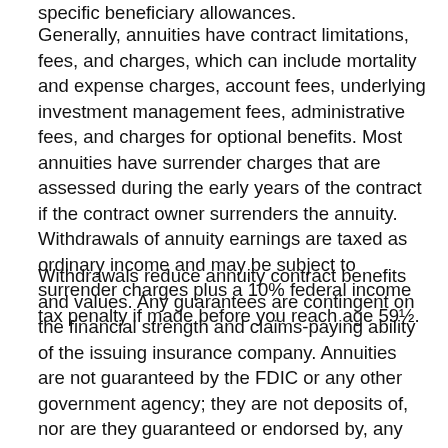specific beneficiary allowances.
Generally, annuities have contract limitations, fees, and charges, which can include mortality and expense charges, account fees, underlying investment management fees, administrative fees, and charges for optional benefits. Most annuities have surrender charges that are assessed during the early years of the contract if the contract owner surrenders the annuity. Withdrawals of annuity earnings are taxed as ordinary income and may be subject to surrender charges plus a 10% federal income tax penalty if made before you reach age 59½.
Withdrawals reduce annuity contract benefits and values. Any guarantees are contingent on the financial strength and claims-paying ability of the issuing insurance company. Annuities are not guaranteed by the FDIC or any other government agency; they are not deposits of, nor are they guaranteed or endorsed by, any bank or savings association. For variable annuities, the investment return and principal value of an investment option are not guaranteed. Variable annuity subaccounts fluctuate with